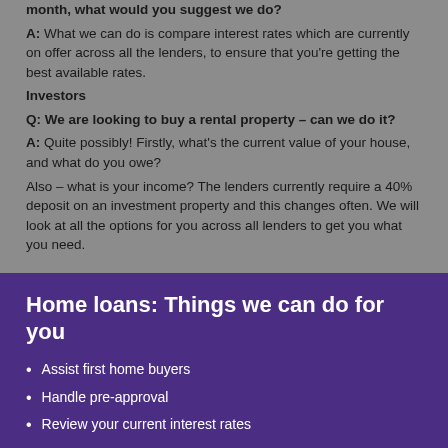month, what would you suggest we do?
A: What we can do is compare interest rates which are currently on offer across all the lenders, to ensure that you're getting the best available rates.
Investors
Q: We are looking to buy a rental property – can we do it?
A: Quite possibly! Firstly, what's the current value of your house, and what do you owe? Also – what is your income? The lenders currently require a 40% deposit on an investment property and this changes often. We will look at all the options for you across all lenders to get you what you need.
Home loans: Things we can do for you
Assist first home buyers
Handle pre-approval
Review your current interest rates